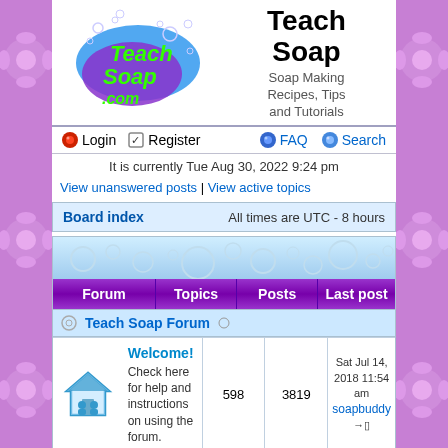[Figure (logo): TeachSoap.com logo with overlapping blue and purple ovals and green text]
Teach Soap
Soap Making Recipes, Tips and Tutorials
Login | Register | FAQ | Search
It is currently Tue Aug 30, 2022 9:24 pm
View unanswered posts | View active topics
Board index  All times are UTC - 8 hours
| Forum | Topics | Posts | Last post |
| --- | --- | --- | --- |
| Teach Soap Forum |  |  |  |
| Welcome!
Check here for help and instructions on using the forum. | 598 | 3819 | Sat Jul 14, 2018 11:54 am
soapbuddy |
| Melt and Pour Soap
This section will delve into the |  |  |  |